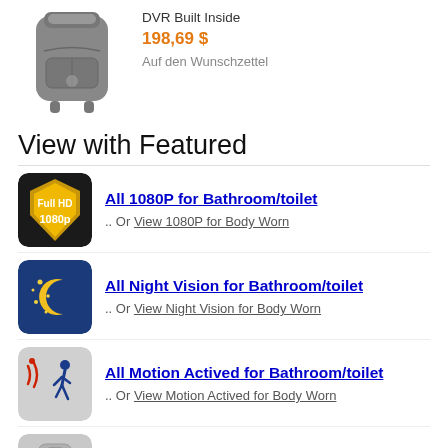[Figure (photo): Grey backpack product image]
DVR Built Inside
198,69 $
Auf den Wunschzettel
View with Featured
[Figure (logo): Full HD 1080p gold shield badge icon]
All 1080P for Bathroom/toilet .. Or View 1080P for Body Worn
[Figure (illustration): Night vision icon — dark blue with crescent moon and stars]
All Night Vision for Bathroom/toilet .. Or View Night Vision for Body Worn
[Figure (illustration): Motion activated icon — person walking with signal waves]
All Motion Actived for Bathroom/toilet .. Or View Motion Actived for Body Worn
[Figure (illustration): Remote control icon — grey remote controller]
All Remote Control for Bathroom/toilet .. Or View Remote Control for Body Worn
[Figure (illustration): Water proof icon — water drop on grey background]
All Water Proof for Bathroom/toilet .. Or View Water Proof for Body Worn